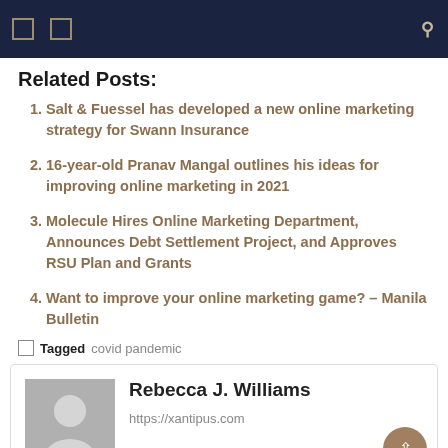Navigation bar with icons
Related Posts:
Salt & Fuessel has developed a new online marketing strategy for Swann Insurance
16-year-old Pranav Mangal outlines his ideas for improving online marketing in 2021
Molecule Hires Online Marketing Department, Announces Debt Settlement Project, and Approves RSU Plan and Grants
Want to improve your online marketing game? – Manila Bulletin
🏷 Tagged covid pandemic
Rebecca J. Williams
https://xantipus.com